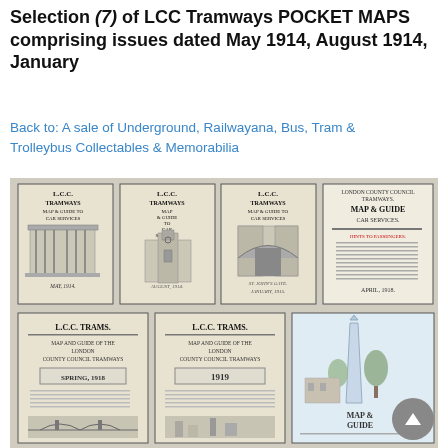Selection (7) of LCC Tramways POCKET MAPS comprising issues dated May 1914, August 1914, January
Back to: A sale of Underground, Railwayana, Bus, Tram & Trolleybus Collectables & Memorabilia
[Figure (photo): A collection of seven LCC Tramways pocket maps arranged in two rows. Top row (left to right): 'L.C.C. Tramways Map & Guide to Car Services' dated May 1914 with a classical building facade; 'L.C.C. Tramways Map & Guide to Car Services' dated August 1914 with a Gothic tower building; 'L.C.C. Tramways Map & Guide to Car Services' dated January 1915 with a medieval gate archway; 'London County Council Tramways Map & Guide Car Services' dated April 1918. Bottom row: 'L.C.C. Trams Map and Guide of the London County Council Tramways' dated Spring 1918; 'L.C.C. Trams Map and Guide of the London County Council Tramways' dated 1919; a partial map/guide booklet featuring an obelisk monument and 'Map & Guide' text.]